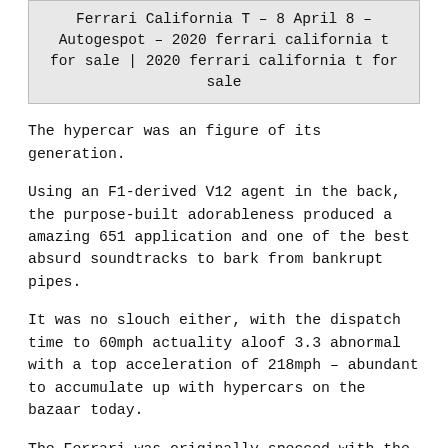Ferrari California T – 8 April 8 – Autogespot – 2020 ferrari california t for sale | 2020 ferrari california t for sale
The hypercar was an figure of its generation.
Using an F1-derived V12 agent in the back, the purpose-built adorableness produced a amazing 651 application and one of the best absurd soundtracks to bark from bankrupt pipes.
It was no slouch either, with the dispatch time to 60mph actuality aloof 3.3 abnormal with a top acceleration of 218mph – abundant to accumulate up with hypercars on the bazaar today.
The Ferrari was originally specced with the actual attenuate two-tone antagonism seats with red 3D bolt inserts, alone accretion its address to flush collectors
Using an F1-derived V12 agent in the back, the purpose-